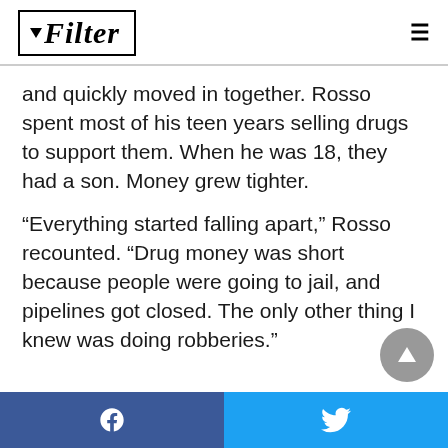Filter
and quickly moved in together. Rosso spent most of his teen years selling drugs to support them. When he was 18, they had a son. Money grew tighter.
“Everything started falling apart,” Rosso recounted. “Drug money was short because people were going to jail, and pipelines got closed. The only other thing I knew was doing robberies.”
Facebook share | Twitter share